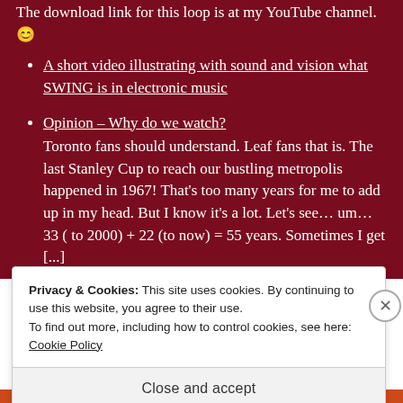The download link for this loop is at my YouTube channel. 😊
A short video illustrating with sound and vision what SWING is in electronic music
Opinion – Why do we watch?
Toronto fans should understand. Leaf fans that is. The last Stanley Cup to reach our bustling metropolis happened in 1967! That's too many years for me to add up in my head. But I know it's a lot. Let's see… um… 33 ( to 2000) + 22 (to now) = 55 years. Sometimes I get [...]
meltdown
My Wonderful Mother
Privacy & Cookies: This site uses cookies. By continuing to use this website, you agree to their use.
To find out more, including how to control cookies, see here: Cookie Policy
Close and accept